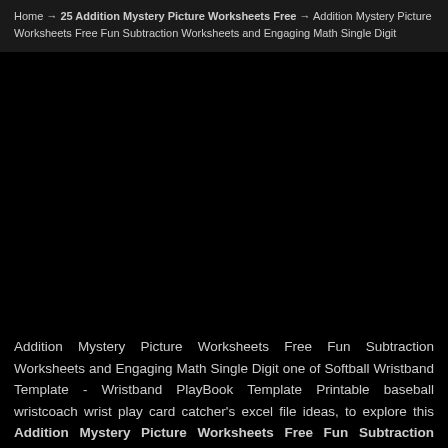Home → 25 Addition Mystery Picture Worksheets Free → Addition Mystery Picture Worksheets Free Fun Subtraction Worksheets and Engaging Math Single Digit
[Figure (photo): Large black image area taking up most of the middle of the page]
Addition Mystery Picture Worksheets Free Fun Subtraction Worksheets and Engaging Math Single Digit one of Softball Wristband Template - Wristband PlayBook Template Printable baseball wristcoach wrist play card catcher's excel file ideas, to explore this Addition Mystery Picture Worksheets Free Fun Subtraction Worksheets and Engaging Math Single Digit